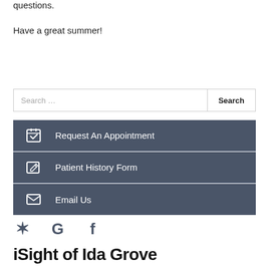questions.
Have a great summer!
[Figure (screenshot): Search bar with 'Search ...' placeholder text and a 'Search' button on the right]
Request An Appointment
Patient History Form
Email Us
[Figure (infographic): Social media icons: Yelp, Google, Facebook in dark gray]
iSight of Ida Grove